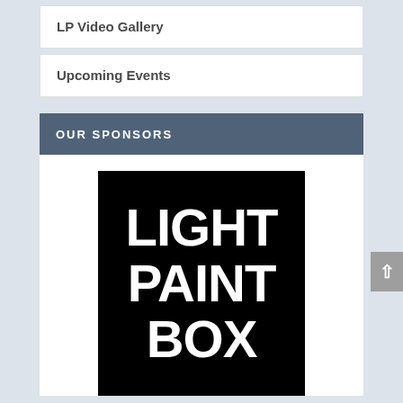LP Video Gallery
Upcoming Events
OUR SPONSORS
[Figure (logo): Light Paint Box logo — large bold white text on black background reading LIGHT PAINT BOX stacked in three rows]